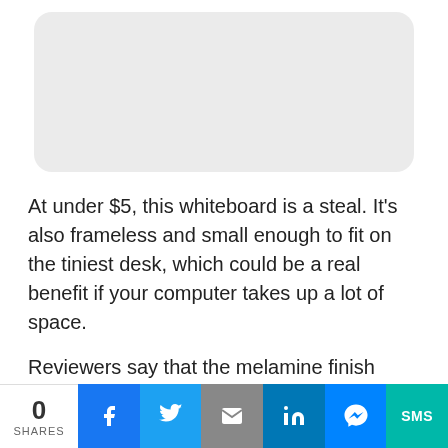[Figure (photo): White frameless whiteboard with rounded corners shown against a white background]
At under $5, this whiteboard is a steal. It's also frameless and small enough to fit on the tiniest desk, which could be a real benefit if your computer takes up a lot of space.
Reviewers say that the melamine finish
0 SHARES | Facebook | Twitter | Email | LinkedIn | Messenger | SMS